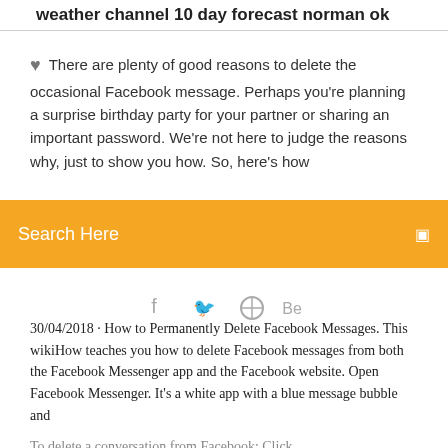weather channel 10 day forecast norman ok
There are plenty of good reasons to delete the occasional Facebook message. Perhaps you're planning a surprise birthday party for your partner or sharing an important password. We're not here to judge the reasons why, just to show you how. So, here's how
Search Here
[Figure (other): Social sharing icons row: Facebook, Twitter, a circle icon, Behance]
30/04/2018 · How to Permanently Delete Facebook Messages. This wikiHow teaches you how to delete Facebook messages from both the Facebook Messenger app and the Facebook website. Open Facebook Messenger. It's a white app with a blue message bubble and
To delete a conversation from Facebook: Click